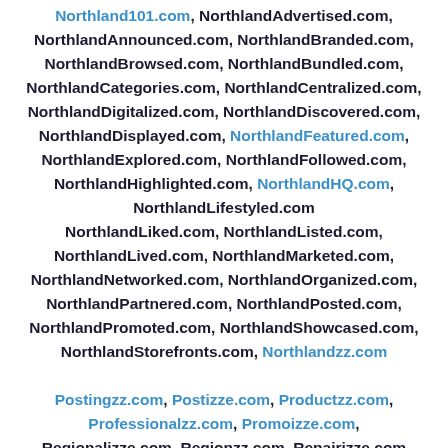Northland101.com, NorthlandAdvertised.com, NorthlandAnnounced.com, NorthlandBranded.com, NorthlandBrowsed.com, NorthlandBundled.com, NorthlandCategories.com, NorthlandCentralized.com, NorthlandDigitalized.com, NorthlandDiscovered.com, NorthlandDisplayed.com, NorthlandFeatured.com, NorthlandExplored.com, NorthlandFollowed.com, NorthlandHighlighted.com, NorthlandHQ.com, NorthlandLifestyled.com NorthlandLiked.com, NorthlandListed.com, NorthlandLived.com, NorthlandMarketed.com, NorthlandNetworked.com, NorthlandOrganized.com, NorthlandPartnered.com, NorthlandPosted.com, NorthlandPromoted.com, NorthlandShowcased.com, NorthlandStorefronts.com, Northlandzz.com
Postingzz.com, Postizze.com, Productzz.com, Professionalzz.com, Promoizze.com, Regionalizze.com, Regionzz.com, Repairizze.com